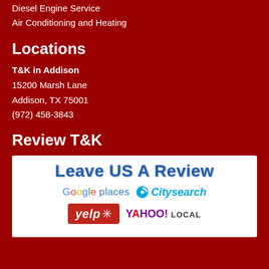Diesel Engine Service
Air Conditioning and Heating
Locations
T&K in Addison
15200 Marsh Lane
Addison, TX 75001
(972) 458-3843
Review T&K
[Figure (infographic): Leave US A Review banner with logos: Google places, Citysearch, Yelp, Yahoo! Local]